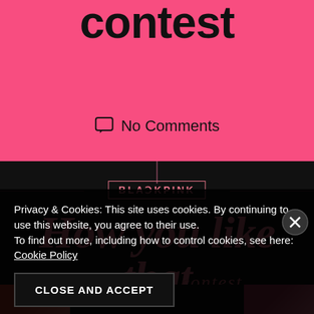contest
No Comments
[Figure (screenshot): BLACKPINK 'How you like that dance cover contest' promotional image with pink text on black background]
Privacy & Cookies: This site uses cookies. By continuing to use this website, you agree to their use. To find out more, including how to control cookies, see here: Cookie Policy
CLOSE AND ACCEPT